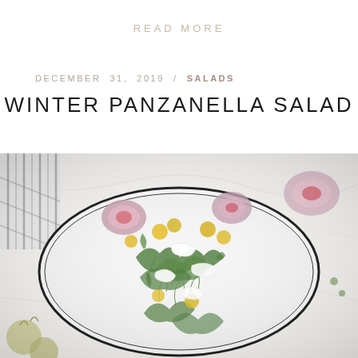READ MORE
DECEMBER 31, 2019 / SALADS
WINTER PANZANELLA SALAD
[Figure (photo): Overhead photo of a winter panzanella salad on a white oval plate with arugula, watermelon radish slices, golden cherry tomatoes, shaved parmesan, and microgreens on a marble surface with a striped cloth napkin.]